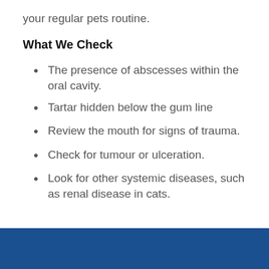your regular pets routine.
What We Check
The presence of abscesses within the oral cavity.
Tartar hidden below the gum line
Review the mouth for signs of trauma.
Check for tumour or ulceration.
Look for other systemic diseases, such as renal disease in cats.